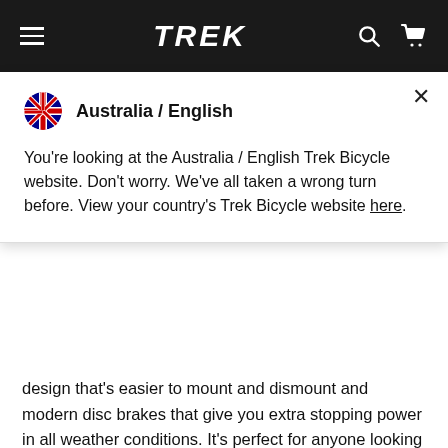TREK
[Figure (screenshot): Modal dialog showing Australia / English country selector with Australian flag icon, close button (×), and message: You're looking at the Australia / English Trek Bicycle website. Don't worry. We've all taken a wrong turn before. View your country's Trek Bicycle website here.]
design that's easier to mount and dismount and modern disc brakes that give you extra stopping power in all weather conditions. It's perfect for anyone looking to get out more, ride as a family, do a bit of exercise or commute to work on a versatile bike backed by a lifetime warranty.
Compare
Colour / Metallic Gunmetal